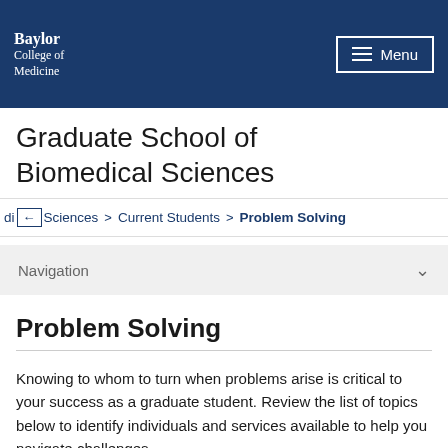Baylor College of Medicine
Graduate School of Biomedical Sciences
di Sciences > Current Students > Problem Solving
Navigation
Problem Solving
Knowing to whom to turn when problems arise is critical to your success as a graduate student. Review the list of topics below to identify individuals and services available to help you navigate challenges.